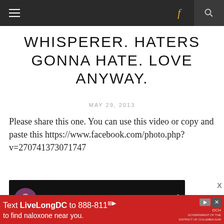≡   f   🔍
WHISPERER. HATERS GONNA HATE. LOVE ANYWAY.
MAY 29, 2013
Please share this one. You can use this video or copy and paste this https://www.facebook.com/photo.php?v=270741373071747
[Figure (screenshot): YouTube video thumbnail showing 'Haters Gonna Hate. ...' with a circular avatar and three-dot menu icon on dark background]
[Figure (infographic): Red advertisement banner: 'Text LiveLongDC to 888-811 to find naloxone near you.']